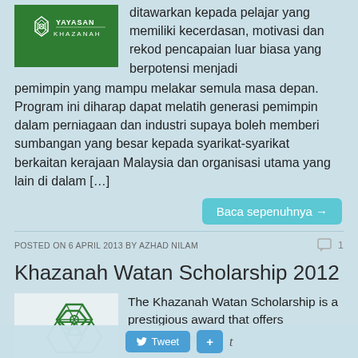[Figure (logo): Yayasan Khazanah green logo with geometric pattern and text]
ditawarkan kepada pelajar yang memiliki kecerdasan, motivasi dan rekod pencapaian luar biasa yang berpotensi menjadi pemimpin yang mampu melakar semula masa depan. Program ini diharap dapat melatih generasi pemimpin dalam perniagaan dan industri supaya boleh memberi sumbangan yang besar kepada syarikat-syarikat berkaitan kerajaan Malaysia dan organisasi utama yang lain di dalam […]
Baca sepenuhnya →
POSTED ON 6 APRIL 2013 BY AZHAD NILAM
Khazanah Watan Scholarship 2012
[Figure (logo): Khazanah geometric green logo symbol]
The Khazanah Watan Scholarship is a prestigious award that offers opportunities